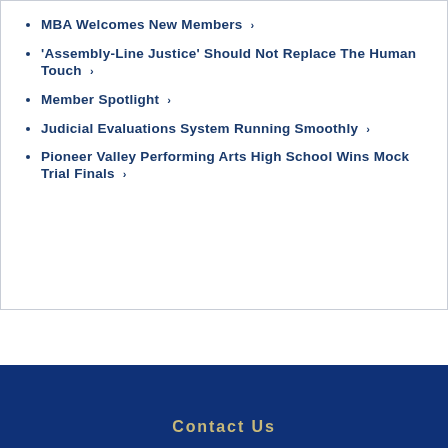MBA Welcomes New Members ›
'Assembly-Line Justice' Should Not Replace The Human Touch ›
Member Spotlight ›
Judicial Evaluations System Running Smoothly ›
Pioneer Valley Performing Arts High School Wins Mock Trial Finals ›
Contact Us